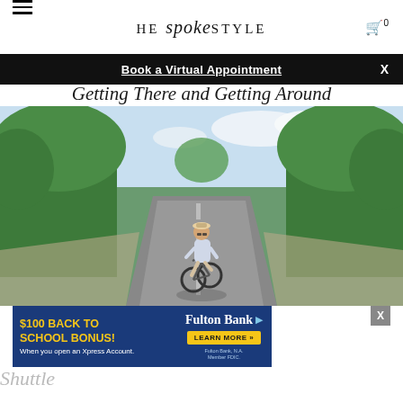HE spoke STYLE
Book a Virtual Appointment
Getting There and Getting Around
[Figure (photo): Man riding a bicycle down a tree-lined road on a sunny day, wearing a white shirt, shorts, and a hat with sunglasses]
[Figure (other): Advertisement: $100 BACK TO SCHOOL BONUS! When you open an Xpress Account. Fulton Bank. LEARN MORE.]
Shuttle